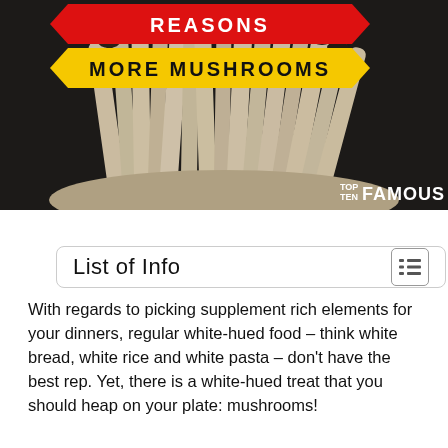[Figure (photo): Close-up photo of white/beige enoki mushrooms on a dark background. Overlaid text banners read 'REASONS MORE MUSHROOMS' in red and yellow ribbon shapes. Bottom right shows 'TOP TEN FAMOUS' branding.]
List of Info
With regards to picking supplement rich elements for your dinners, regular white-hued food – think white bread, white rice and white pasta – don’t have the best rep. Yet, there is a white-hued treat that you should heap on your plate: mushrooms!
Whether in a spinach salad, sautéed in a pan fried food or collapsed into an omelet, mushrooms are a nutty-enhanced, supplement stuffed treat, says Florida-based nutritionist Maryann Walsh, RD. “Mushrooms contain selenium and ergothioneine, which are intense cancer